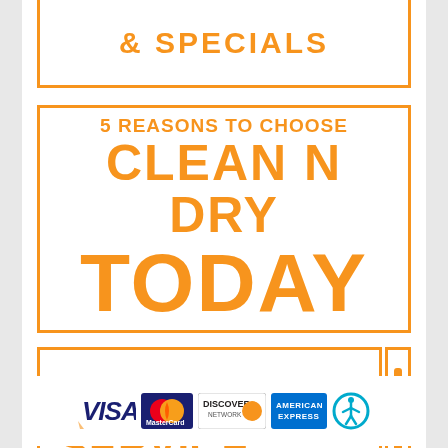& SPECIALS
5 REASONS TO CHOOSE CLEAN N DRY TODAY
EMERGENCY SERVICE
[Figure (logo): Payment method logos: VISA, MasterCard, Discover Network, American Express, and accessibility icon]